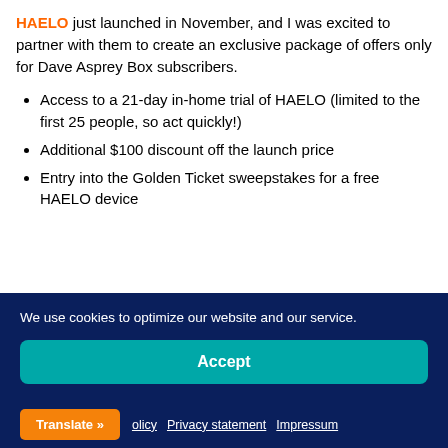HAELO just launched in November, and I was excited to partner with them to create an exclusive package of offers only for Dave Asprey Box subscribers.
Access to a 21-day in-home trial of HAELO (limited to the first 25 people, so act quickly!)
Additional $100 discount off the launch price
Entry into the Golden Ticket sweepstakes for a free HAELO device
We use cookies to optimize our website and our service.
Accept
Translate » olicy  Privacy statement  Impressum